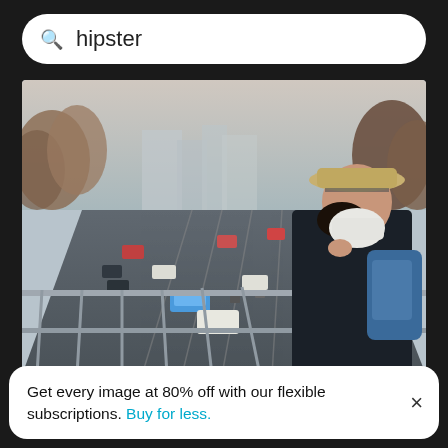Q  hipster
[Figure (photo): Young woman wearing a face mask and straw hat standing on a footbridge overlooking a busy multi-lane urban highway with heavy traffic and trees lining both sides, city skyline visible in background. She wears a dark jacket and has a blue backpack.]
Young woman wearing mask standing on footbridge
Get every image at 80% off with our flexible subscriptions. Buy for less.